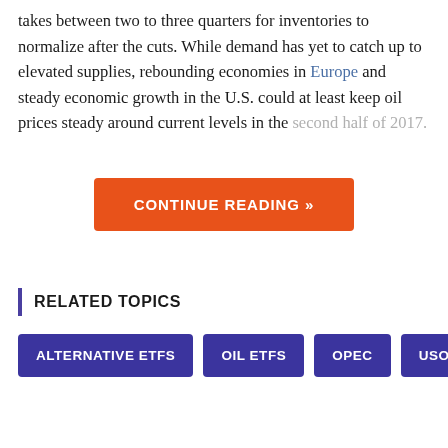takes between two to three quarters for inventories to normalize after the cuts. While demand has yet to catch up to elevated supplies, rebounding economies in Europe and steady economic growth in the U.S. could at least keep oil prices steady around current levels in the second half of 2017.
CONTINUE READING »
RELATED TOPICS
ALTERNATIVE ETFS
OIL ETFS
OPEC
USO